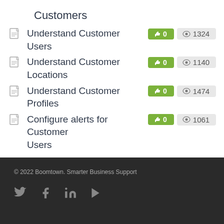Customers
Understand Customer Users — 👍 0  👁 1324
Understand Customer Locations — 👍 0  👁 1140
Understand Customer Profiles — 👍 0  👁 1474
Configure alerts for Customer Users — 👍 0  👁 1061
© 2022 Boomtown. Smarter Business Support